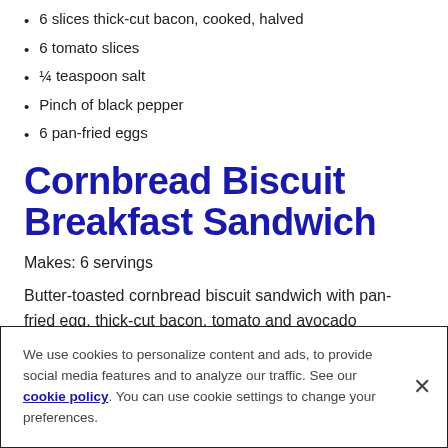6 slices thick-cut bacon, cooked, halved
6 tomato slices
¼ teaspoon salt
Pinch of black pepper
6 pan-fried eggs
Cornbread Biscuit Breakfast Sandwich
Makes: 6 servings
Butter-toasted cornbread biscuit sandwich with pan-fried egg, thick-cut bacon, tomato and avocado
We use cookies to personalize content and ads, to provide social media features and to analyze our traffic. See our cookie policy. You can use cookie settings to change your preferences.